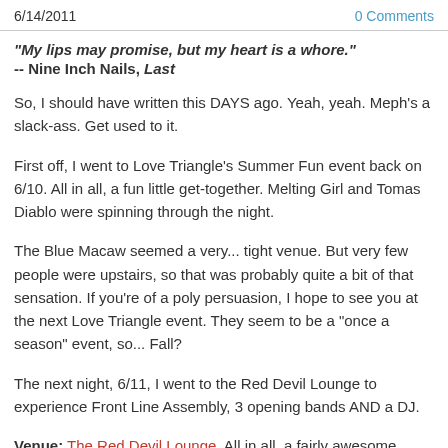6/14/2011   0 Comments
"My lips may promise, but my heart is a whore."
-- Nine Inch Nails, Last
So, I should have written this DAYS ago. Yeah, yeah. Meph's a slack-ass. Get used to it.
First off, I went to Love Triangle's Summer Fun event back on 6/10. All in all, a fun little get-together. Melting Girl and Tomas Diablo were spinning through the night.
The Blue Macaw seemed a very... tight venue. But very few people were upstairs, so that was probably quite a bit of that sensation. If you're of a poly persuasion, I hope to see you at the next Love Triangle event. They seem to be a "once a season" event, so... Fall?
The next night, 6/11, I went to the Red Devil Lounge to experience Front Line Assembly, 3 opening bands AND a DJ.
Venue: The Red Devil Lounge. All in all, a fairly awesome place. Cozy